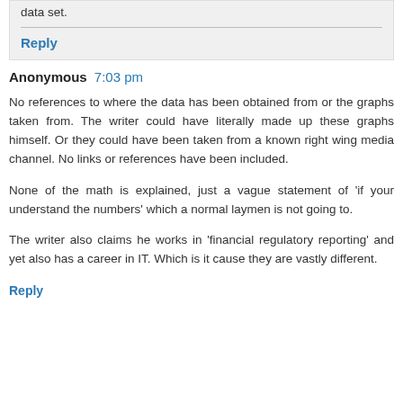data set.
Reply
Anonymous  7:03 pm
No references to where the data has been obtained from or the graphs taken from. The writer could have literally made up these graphs himself. Or they could have been taken from a known right wing media channel. No links or references have been included.
None of the math is explained, just a vague statement of 'if your understand the numbers' which a normal laymen is not going to.
The writer also claims he works in 'financial regulatory reporting' and yet also has a career in IT. Which is it cause they are vastly different.
Reply